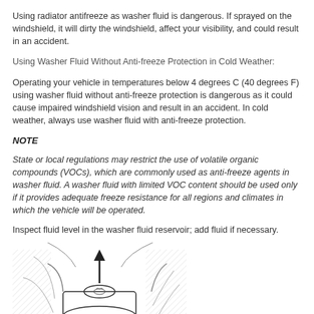Using radiator antifreeze as washer fluid is dangerous. If sprayed on the windshield, it will dirty the windshield, affect your visibility, and could result in an accident.
Using Washer Fluid Without Anti-freeze Protection in Cold Weather:
Operating your vehicle in temperatures below 4 degrees C (40 degrees F) using washer fluid without anti-freeze protection is dangerous as it could cause impaired windshield vision and result in an accident. In cold weather, always use washer fluid with anti-freeze protection.
NOTE
State or local regulations may restrict the use of volatile organic compounds (VOCs), which are commonly used as anti-freeze agents in washer fluid. A washer fluid with limited VOC content should be used only if it provides adequate freeze resistance for all regions and climates in which the vehicle will be operated.
Inspect fluid level in the washer fluid reservoir; add fluid if necessary.
[Figure (illustration): Technical illustration of a vehicle washer fluid reservoir area showing a hand or tool pointing to the reservoir cap with an upward arrow indicating where to add fluid.]